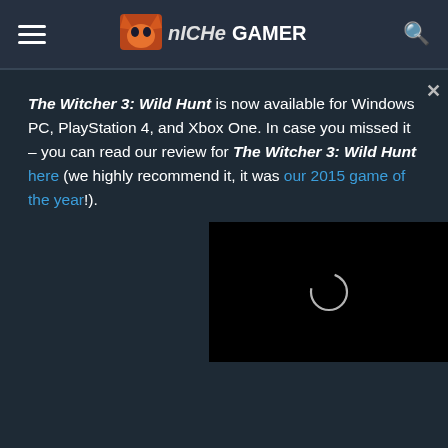Niche Gamer
The Witcher 3: Wild Hunt is now available for Windows PC, PlayStation 4, and Xbox One. In case you missed it – you can read our review for The Witcher 3: Wild Hunt here (we highly recommend it, it was our 2015 game of the year!).
[Figure (screenshot): Black video player with loading spinner circle in the center, with an X close button in the upper right corner]